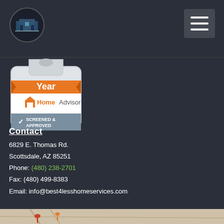Best 4 Less Home Services logo and navigation menu
[Figure (logo): HomeAdvisor Screened & Approved badge with orange Year banner]
Contact
6829 E. Thomas Rd.
Scottsdale, AZ 85251
Phone: (480) 238-2701
Fax: (480) 499-8383
Email: info@best4lesshomeservices.com
[Figure (illustration): Facebook and Twitter social media icons in green]
Languages
English
Spanish
[Figure (map): Map strip at bottom of page]